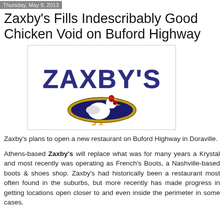Thursday, May 9, 2013
Zaxby's Fills Indescribably Good Chicken Void on Buford Highway
[Figure (logo): Zaxby's restaurant logo featuring large stylized text 'ZAXBY'S' in dark blue with a rooster/chicken mascot inside a gold and dark blue oval]
Zaxby's plans to open a new restaurant on Buford Highway in Doraville.
Athens-based Zaxby's will replace what was for many years a Krystal and most recently was operating as French's Boots, a Nashville-based boots & shoes shop. Zaxby's had historically been a restaurant most often found in the suburbs, but more recently has made progress in getting locations open closer to and even inside the perimeter in some cases.